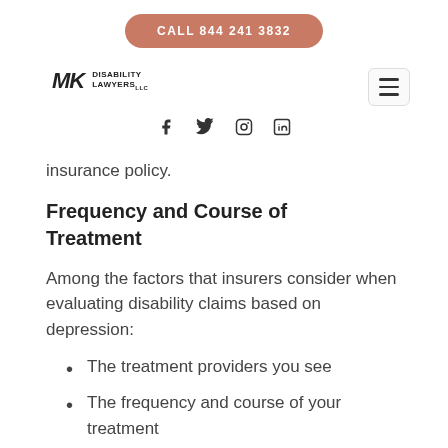CALL 844 241 3832 | MK Disability Lawyers
insurance policy.
Frequency and Course of Treatment
Among the factors that insurers consider when evaluating disability claims based on depression:
The treatment providers you see
The frequency and course of your treatment
The number of times per week or month you see your psychiatrist and/or psychologist